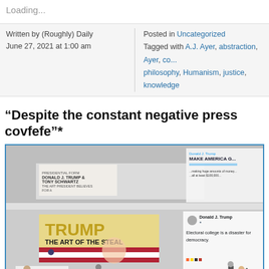Loading...
Written by (Roughly) Daily
June 27, 2021 at 1:00 am
Posted in Uncategorized
Tagged with A.J. Ayer, abstraction, Ayer, co..., philosophy, Humanism, justice, knowledge
“Despite the constant negative press covfefe”*
[Figure (photo): 3D rendered museum or gallery scene showing large book 'TRUMP: THE ART OF THE STEAL', Trump tweets displayed on walls, and figurines of people in a gallery space]